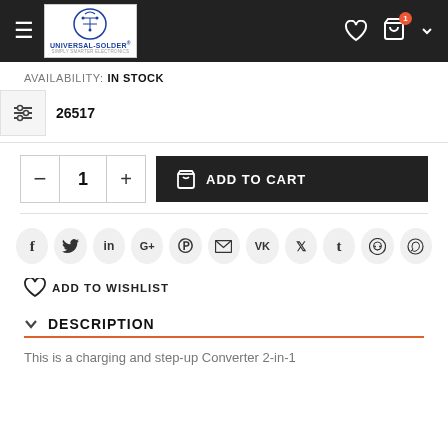Universal-Solder logo and navigation header
AVAILABILITY: IN STOCK
26517
ADD TO CART
f  in  G+  (pinterest)  (mail)  VK  (xing)  t  (reddit)  (whatsapp)
ADD TO WISHLIST
DESCRIPTION
This is a charging and step-up Converter 2-in-1